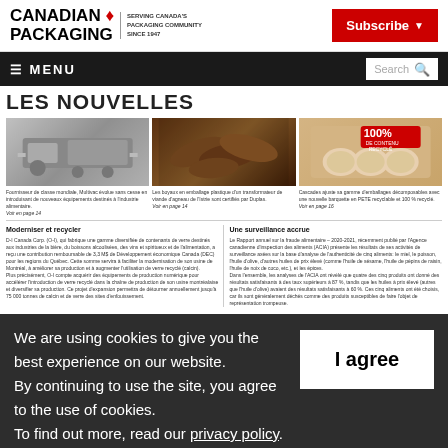CANADIAN PACKAGING — SERVING CANADA'S PACKAGING COMMUNITY SINCE 1947 | Subscribe
≡ MENU | Search
LES NOUVELLES
[Figure (photo): Three news article images: a packaging machine, sausages in plastic wrap, and an egg carton with 100% recycled content badge]
Fournisseur de classe mondiale, Multivac évolue sans cesse en introduisant de nouveaux équipements destinés à l'industrie alimentaire. Voir en page 14 | Les boyaux en emballage plastique d'un transformateur de viande d'agneau de l'Istrie sont certifiés par Duplas. Voir en page 14 | Cascades ajuste sa gamme d'emballages décomposables avec une nouvelle barquette en PETE recyclable et 100 % recyclé. Voir en page 16
Moderniser et recycler
D-I Canada Corp. (O-I), qui fabrique une gamme diversifiée de contenants de verre destinés aux industries de la bière, du boissons alcoolisées, des vins et spiritueux et de l'alimentation, a reçu une contribution remboursable de 3,3 M$ de Développement économique Canada (DEC) pour les regions du Québec. Cette somme servira à faciliter la modernisation de son usine de Montréal, à améliorer sa production et à augmenter l'utilisation de verre recyclé (calcin). Plus précisément, O-I compte acquérir des équipements de production numérique pour accélérer l'introduction de verre recyclé dans la chaîne de production de son usine montréalaise et diversifier sa production. Ce projet d'expansion permettra de détourner annuellement jusqu'à 75 000 tonnes de calcin et de verre des sites d'enfouissement.
Une surveillance accrue
Le Rapport annuel sur la fraude alimentaire – 2020-2021, récemment publié par l'Agence canadienne d'inspection des aliments (ACIA) présente les résultats de ses activités de surveillance axées sur la base d'analyse de l'authenticité de cinq aliments: le miel, le poisson, l'huile d'olive, d'autres huiles de prix élevé (comme l'huile de sésame, l'huile de pépins de raisin, l'huile de noix de coco, etc.), et les épices. Dans l'ensemble, les analyses de l'ACIA ont révélé que quatre des cinq produits ont donné des résultats satisfaisants à des taux supérieurs à 87 %, tandis que les huiles à prix élevé (autres que l'huile d'olive) avaient des résultats satisfaisants à 60 %. Ces cinq aliments ont été choisis, car ils sont généralement déchés comme des produits susceptibles de faire l'objet de représentation trompeuse.
We are using cookies to give you the best experience on our website.
By continuing to use the site, you agree to the use of cookies.
To find out more, read our privacy policy.